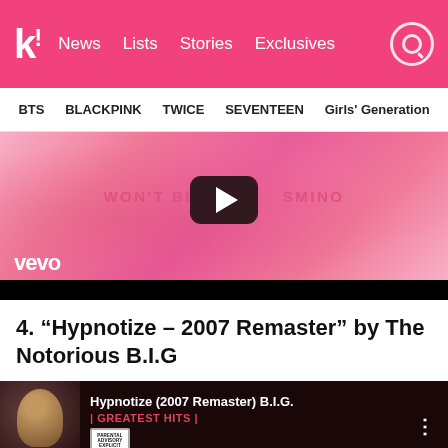K! News Lists Stories Exclusives
BTS  BLACKPINK  TWICE  SEVENTEEN  Girls' Generation
[Figure (screenshot): Vevo music video embed with pink background showing play button and text WON'T BITE SMINO]
4. “Hypnotize – 2007 Remaster” by The Notorious B.I.G
[Figure (screenshot): YouTube video embed showing Hypnotize (2007 Remaster) by The Notorious B.I.G. - Greatest Hits, with album thumbnail and parental advisory sticker]